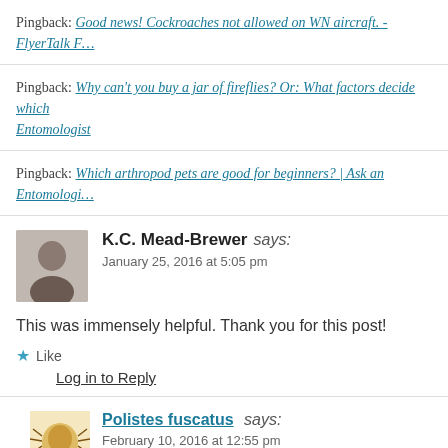Pingback: Good news! Cockroaches not allowed on WN aircraft. - FlyerTalk F…
Pingback: Why can't you buy a jar of fireflies? Or: What factors decide which… Entomologist
Pingback: Which arthropod pets are good for beginners? | Ask an Entomologi…
K.C. Mead-Brewer says:
January 25, 2016 at 5:05 pm
This was immensely helpful. Thank you for this post!
★ Like
Log in to Reply
Polistes fuscatus says:
February 10, 2016 at 12:55 pm